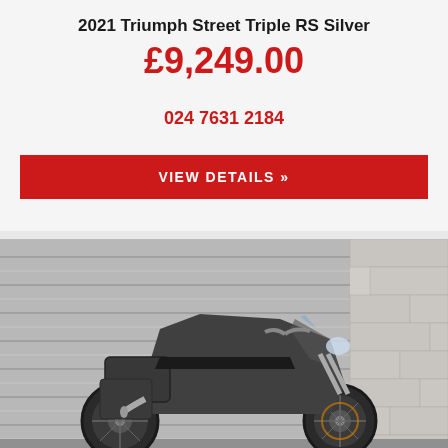2021 Triumph Street Triple RS Silver
£9,249.00
024 7631 2184
VIEW DETAILS »
[Figure (photo): Side profile photo of a dark grey touring motorcycle with top box and panniers, parked in front of a corrugated metal shutter and brick wall.]